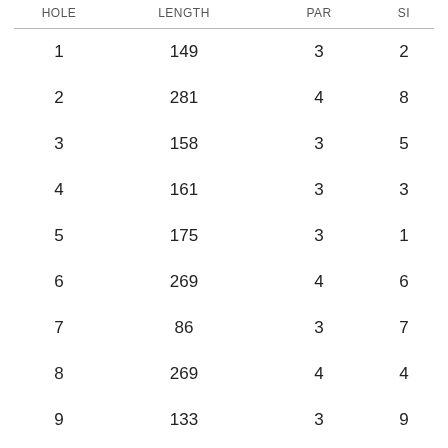| HOLE | LENGTH | PAR | SI |
| --- | --- | --- | --- |
| 1 | 149 | 3 | 2 |
| 2 | 281 | 4 | 8 |
| 3 | 158 | 3 | 5 |
| 4 | 161 | 3 | 3 |
| 5 | 175 | 3 | 1 |
| 6 | 269 | 4 | 6 |
| 7 | 86 | 3 | 7 |
| 8 | 269 | 4 | 4 |
| 9 | 133 | 3 | 9 |